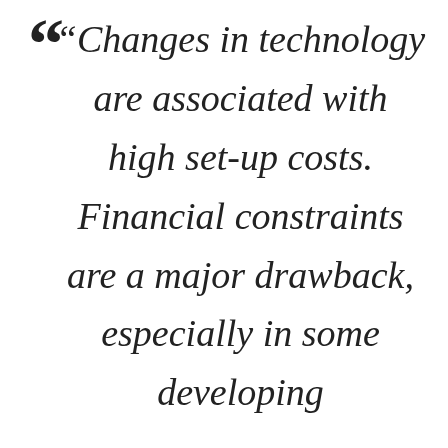“Changes in technology are associated with high set-up costs. Financial constraints are a major drawback, especially in some developing